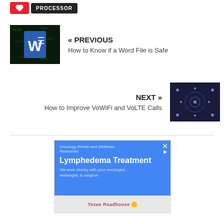[Figure (other): Heart icon button (red) and PROCESSOR button (dark)]
« PREVIOUS
How to Know if a Word File is Safe
[Figure (screenshot): Thumbnail showing Microsoft Word icon on dark green matrix background]
NEXT »
How to Improve VoWiFi and VoLTE Calls
[Figure (photo): Thumbnail showing network/connectivity visualization on dark blue background]
[Figure (screenshot): Advertisement: Oncology Rehab and Wellness Resources - Lymphedema Treatment. We work closely with your oncologist, radiologist, & surgeon. Map snippet showing Texas Roadhouse.]